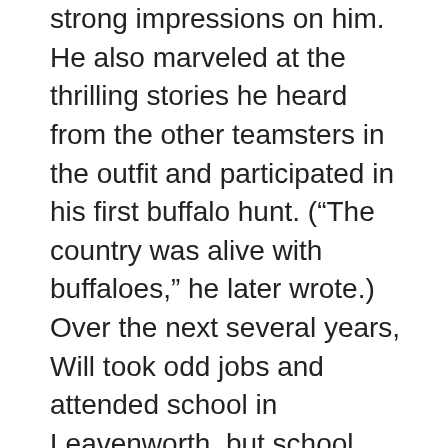strong impressions on him. He also marveled at the thrilling stories he heard from the other teamsters in the outfit and participated in his first buffalo hunt. (“The country was alive with buffaloes,” he later wrote.) Over the next several years, Will took odd jobs and attended school in Leavenworth, but school held little fascination for him. He’d had a taste of the great expanse of the West and was enthralled.